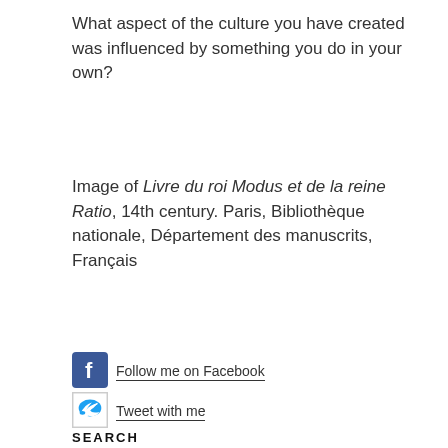What aspect of the culture you have created was influenced by something you do in your own?
Image of Livre du roi Modus et de la reine Ratio, 14th century. Paris, Bibliothèque nationale, Département des manuscrits, Français
[Figure (logo): Facebook icon - blue square with white 'f']
Follow me on Facebook
[Figure (logo): Twitter icon - blue bird on white square with border]
Tweet with me
SEARCH
Search …